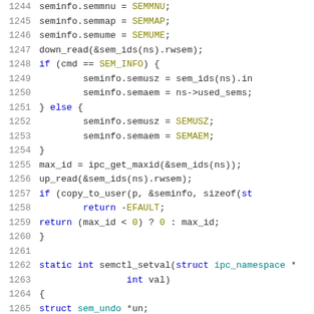[Figure (screenshot): Source code listing in C showing lines 1244-1265, a function body with seminfo assignments and a new function declaration semctl_setval. Syntax highlighted with line numbers on the left.]